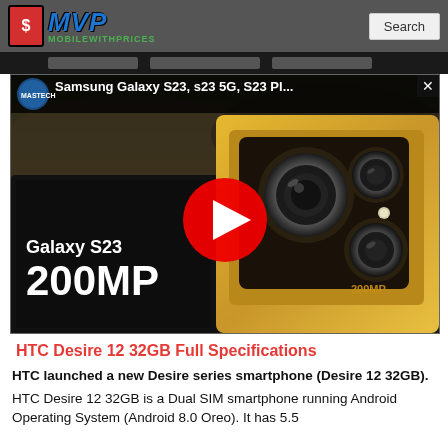MVP MobileWithPrices | Search
[Figure (screenshot): YouTube video thumbnail showing Samsung Galaxy S23 with 200MP camera in gold color, with red play button overlay. Video title: Samsung Galaxy S23, s23 5G, S23 Pl...]
HTC Desire 12 32GB Full Specifications
HTC launched a new Desire series smartphone (Desire 12 32GB).
HTC Desire 12 32GB is a Dual SIM smartphone running Android Operating System (Android 8.0 Oreo). It has 5.5